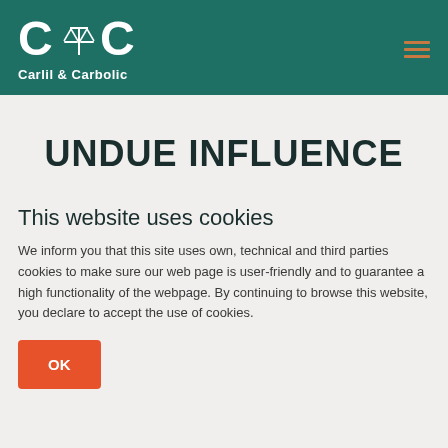Carlil & Carbolic
UNDUE INFLUENCE
This website uses cookies
We inform you that this site uses own, technical and third parties cookies to make sure our web page is user-friendly and to guarantee a high functionality of the webpage. By continuing to browse this website, you declare to accept the use of cookies.
OK